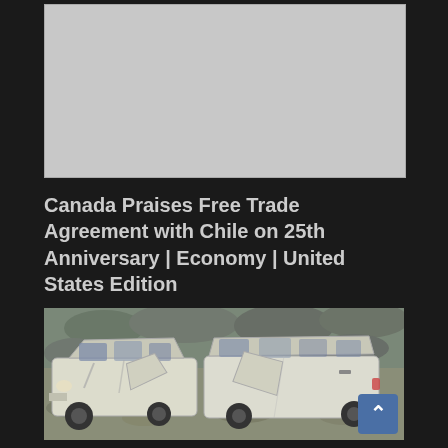[Figure (photo): Gray/white rectangular placeholder image at top of page]
Canada Praises Free Trade Agreement with Chile on 25th Anniversary | Economy | United States Edition
[Figure (photo): Photograph of a wrecked white van/minibus on a rocky hillside, with doors open and body heavily damaged]